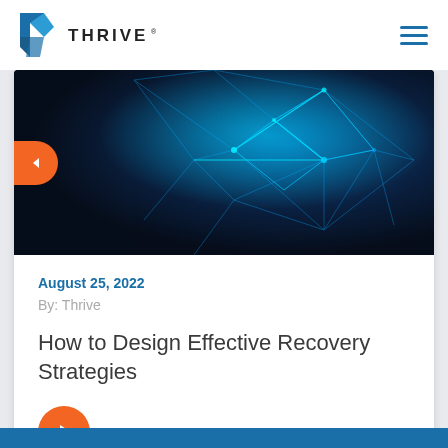[Figure (logo): Thrive logo with blue angular T-shape icon and THRIVE text in dark letters]
[Figure (photo): Dark background with glowing blue geometric mesh/polygon network structure, technology themed hero banner image]
August 25, 2022
By: Thrive
How to Design Effective Recovery Strategies
[Figure (other): Orange circular play button icon]